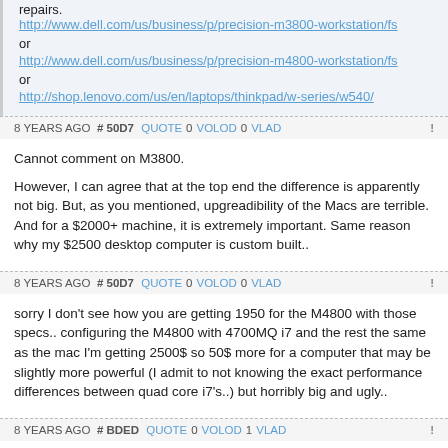repairs.
http://www.dell.com/us/business/p/precision-m3800-workstation/fs
or
http://www.dell.com/us/business/p/precision-m4800-workstation/fs
or
http://shop.lenovo.com/us/en/laptops/thinkpad/w-series/w540/
8 YEARS AGO # 50D7 QUOTE 0 VOLOD 0 VLAD
Cannot comment on M3800.

However, I can agree that at the top end the difference is apparently not big. But, as you mentioned, upgreadibility of the Macs are terrible.
And for a $2000+ machine, it is extremely important. Same reason why my $2500 desktop computer is custom built..
8 YEARS AGO # 50D7 QUOTE 0 VOLOD 0 VLAD
sorry I don't see how you are getting 1950 for the M4800 with those specs.. configuring the M4800 with 4700MQ i7 and the rest the same as the mac I'm getting 2500$ so 50$ more for a computer that may be slightly more powerful (I admit to not knowing the exact performance differences between quad core i7's..) but horribly big and ugly..
8 YEARS AGO # BDED QUOTE 0 VOLOD 1 VLAD